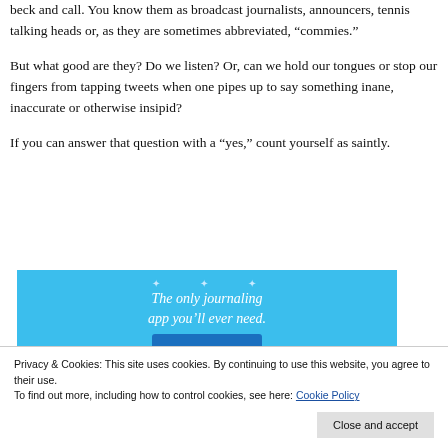beck and call. You know them as broadcast journalists, announcers, tennis talking heads or, as they are sometimes abbreviated, “commies.”
But what good are they? Do we listen? Or, can we hold our tongues or stop our fingers from tapping tweets when one pipes up to say something inane, inaccurate or otherwise insipid?
If you can answer that question with a “yes,” count yourself as saintly.
[Figure (infographic): Blue advertisement banner reading 'The only journaling app you’ll ever need.' with decorative star elements and a button below.]
Privacy & Cookies: This site uses cookies. By continuing to use this website, you agree to their use.
To find out more, including how to control cookies, see here: Cookie Policy
Close and accept